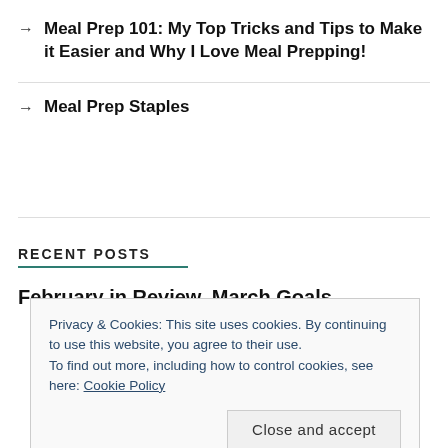→ Meal Prep 101: My Top Tricks and Tips to Make it Easier and Why I Love Meal Prepping!
→ Meal Prep Staples
RECENT POSTS
February in Review, March Goals
Privacy & Cookies: This site uses cookies. By continuing to use this website, you agree to their use.
To find out more, including how to control cookies, see here: Cookie Policy
Close and accept